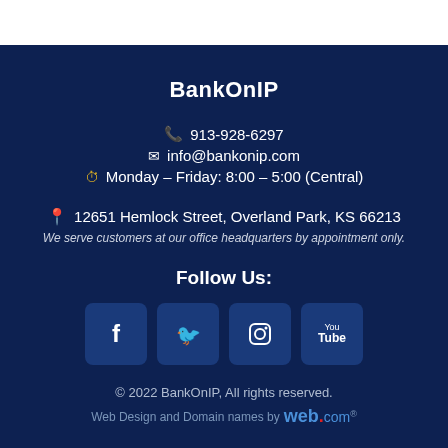BankOnIP
913-928-6297
info@bankonip.com
Monday - Friday: 8:00 - 5:00 (Central)
12651 Hemlock Street, Overland Park, KS 66213
We serve customers at our office headquarters by appointment only.
Follow Us:
[Figure (other): Social media icons: Facebook, Twitter, Instagram, YouTube]
© 2022 BankOnIP, All rights reserved.
Web Design and Domain names by web.com